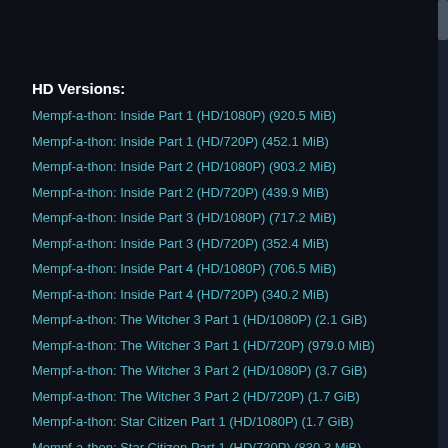HD Versions:
Mempf-a-thon: Inside Part 1 (HD/1080P) (920.5 MiB)
Mempf-a-thon: Inside Part 1 (HD/720P) (452.1 MiB)
Mempf-a-thon: Inside Part 2 (HD/1080P) (903.2 MiB)
Mempf-a-thon: Inside Part 2 (HD/720P) (439.9 MiB)
Mempf-a-thon: Inside Part 3 (HD/1080P) (717.2 MiB)
Mempf-a-thon: Inside Part 3 (HD/720P) (352.4 MiB)
Mempf-a-thon: Inside Part 4 (HD/1080P) (706.5 MiB)
Mempf-a-thon: Inside Part 4 (HD/720P) (340.2 MiB)
Mempf-a-thon: The Witcher 3 Part 1 (HD/1080P) (2.1 GiB)
Mempf-a-thon: The Witcher 3 Part 1 (HD/720P) (979.0 MiB)
Mempf-a-thon: The Witcher 3 Part 2 (HD/1080P) (3.7 GiB)
Mempf-a-thon: The Witcher 3 Part 2 (HD/720P) (1.7 GiB)
Mempf-a-thon: Star Citizen Part 1 (HD/1080P) (1.7 GiB)
Mempf-a-thon: Star Citizen Part 1 (HD/720P) (830.3 MiB)
Mempf-a-thon: Star Citizen Part 2 (HD/1080P) (1.9 GiB)
Mempf-a-thon: Star Citizen Part 2 (HD/720P) (952.8 MiB)
Mempf-a-thon: Battlefield 2142 Part 1 (HD/1080P) (2.5 GiB)
Mempf-a-thon: Battlefield 2142 Part 1 (HD/720P) (1.2 GiB)
Mempf-a-thon: Battlefield 2142 Part 2 (HD/1080P) (2.3 GiB)